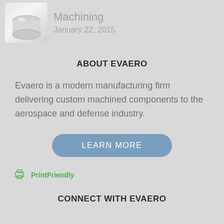[Figure (illustration): Thumbnail image of a machined component (cylindrical part)]
Machining
January 22, 2015
ABOUT EVAERO
Evaero is a modern manufacturing firm delivering custom machined components to the aerospace and defense industry.
LEARN MORE
PrintFriendly
CONNECT WITH EVAERO